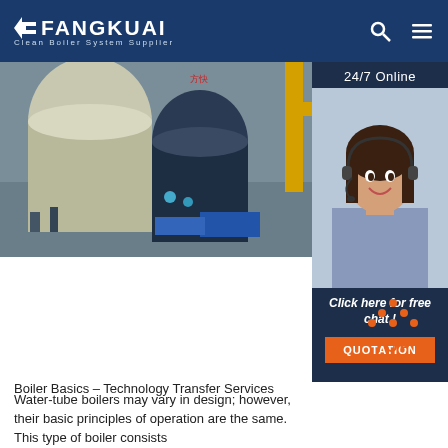FANGKUAI Clean Boiler System Supplier
[Figure (photo): Industrial boilers and piping equipment in a factory setting]
[Figure (photo): 24/7 Online customer service representative with headset smiling, with Click here for free chat! and QUOTATION button]
[Figure (other): TOP navigation icon with orange dots and text]
Boiler Basics – Technology Transfer Services
Water-tube boilers may vary in design; however, their basic principles of operation are the same. This type of boiler consists